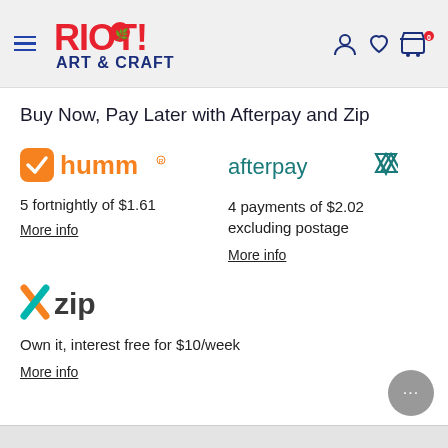Riot Art & Craft — Buy Now Pay Later page header with navigation
Buy Now, Pay Later with Afterpay and Zip
[Figure (logo): humm logo — orange bird icon with 'humm' text in orange and registered trademark symbol]
5 fortnightly of $1.61
More info
[Figure (logo): afterpay logo — 'afterpay' text in dark teal with triangle arrow icon]
4 payments of $2.02 excluding postage
More info
[Figure (logo): zip logo — orange and teal X icon with 'zip' text in dark grey]
Own it, interest free for $10/week
More info